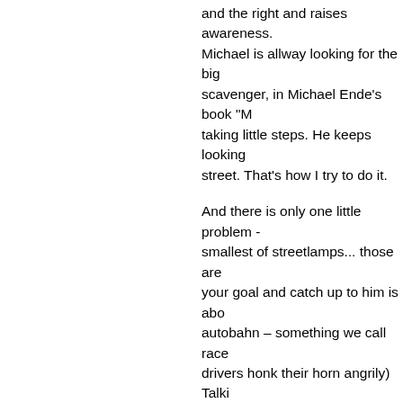and the right and raises awareness. Michael is allway looking for the big scavenger, in Michael Ende's book "M taking little steps. He keeps looking street. That's how I try to do it.
And there is only one little problem - smallest of streetlamps... those are your goal and catch up to him is abo autobahn – something we call race drivers honk their horn angrily) Talki driver honking as a greeting along th drivers. He states, that having the d him do the walk. I don't appreciate t rather see the sorrow shared (the lo is sorrow halved perspective. At the every single day. One way or the oth